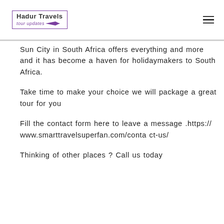Hadur Travels tour updates
Sun City in South Africa offers everything and more and it has become a haven for holidaymakers to South Africa.
Take time to make your choice we will package a great tour for you
Fill the contact form here to leave a message .https://www.smarttravelsuperfan.com/contact-us/
Thinking of other places ? Call us today